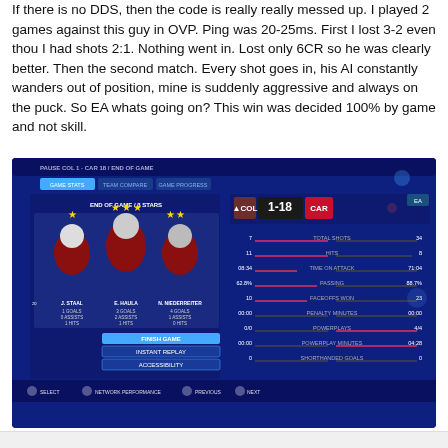If there is no DDS, then the code is really really messed up. I played 2 games against this guy in OVP. Ping was 20-25ms. First I lost 3-2 even thou I had shots 2:1. Nothing went in. Lost only 6CR so he was clearly better. Then the second match. Every shot goes in, his AI constantly wanders out of position, mine is suddenly aggressive and always on the puck. So EA whats going on? This win was decided 100% by game and not skill.
[Figure (screenshot): A screenshot of an NHL video game end-of-game stats screen showing COL 1-18 CAR, with player stars (J. Staal, E. Haula, N. Niederreiter) on the left and game stats on the right including total shots, hits, time on attack, passing, faceoffs won, penalty minutes, powerplay, powerplay minutes, and shorthanded goals.]